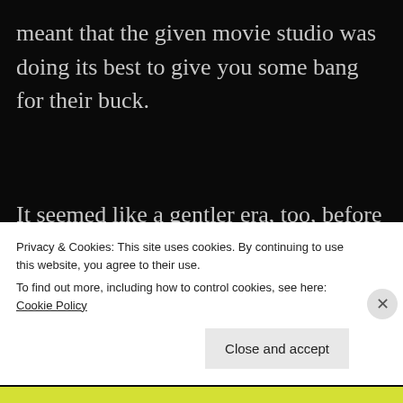meant that the given movie studio was doing its best to give you some bang for their buck.
It seemed like a gentler era, too, before conglomerates were sweeping up everything in their paths. Back in his glory days of Young Frankenstein, Mel Brooks told an interviewer that he…
Privacy & Cookies: This site uses cookies. By continuing to use this website, you agree to their use.
To find out more, including how to control cookies, see here: Cookie Policy
Close and accept